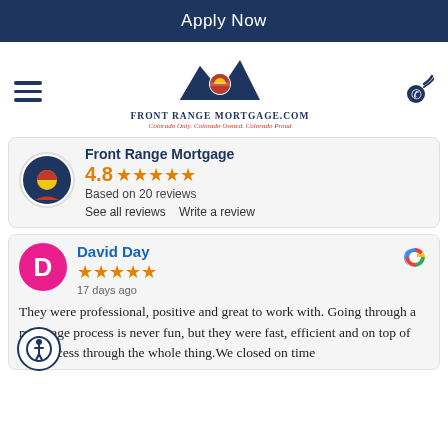Apply Now
[Figure (logo): Front Range Mortgage logo with mountain peaks and Colorado flag circle, text: FRONT RANGE MORTGAGE.COM, Colorado Only. Colorado Owned. Colorado Proud]
Front Range Mortgage
4.8 ★★★★★ Based on 20 reviews
See all reviews   Write a review
David Day
★★★★★ 17 days ago
They were professional, positive and great to work with. Going through a mortgage process is never fun, but they were fast, efficient and on top of the process through the whole thing. We closed on time